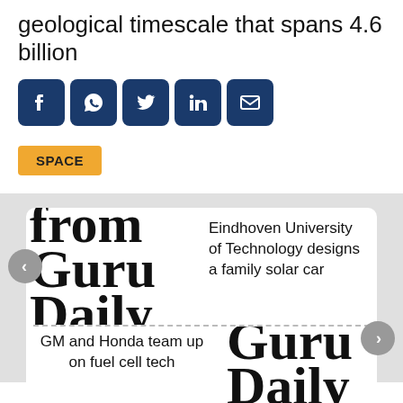geological timescale that spans 4.6 billion
[Figure (screenshot): Social sharing icons: Facebook, WhatsApp, Twitter, LinkedIn, Email — dark blue square rounded buttons with white icons]
SPACE
[Figure (screenshot): Carousel showing two article teasers: 'Eindhoven University of Technology designs a family solar car' and 'GM and Honda team up on fuel cell tech', overlaid on large 'Guru Daily' newspaper logo text. Navigation arrows on left and right.]